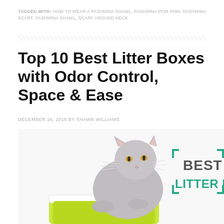TAGGED WITH: HOW TO WEAR A PASHMINA SHAWL, PASHMINA POM POM, PASHMINA SCARF, PASHMINA SHAWL, SCARF AROUND NECK
[Figure (illustration): Decorative diagonal hatching divider line across page width]
Top 10 Best Litter Boxes with Odor Control, Space & Ease
DECEMBER 26, 2018 BY SHAWN WILLIAMS
[Figure (photo): A gray British Shorthair cat sitting inside a green and white litter box. Overlaid on the right side is a teal bracket corner frame graphic with bold text reading 'BEST LITTER BOX' in dark gray and teal colors.]